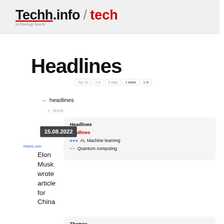Techh.info / tech — technology hourly
Headlines
Top 10  1m  5 days  1 week  1 m
– headlines
≡ texts
Headlines
headlines
AI, Machine learning
Quantum computing
15.08.2022
rNews.com
Elon Musk wrote article for China
Themes
StartUps
Tech
Physics
omed
Fin